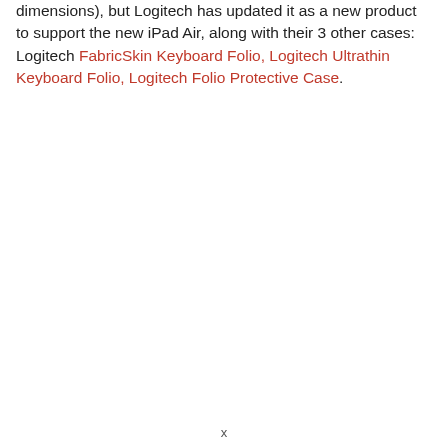dimensions), but Logitech has updated it as a new product to support the new iPad Air, along with their 3 other cases: Logitech FabricSkin Keyboard Folio, Logitech Ultrathin Keyboard Folio, Logitech Folio Protective Case.
x